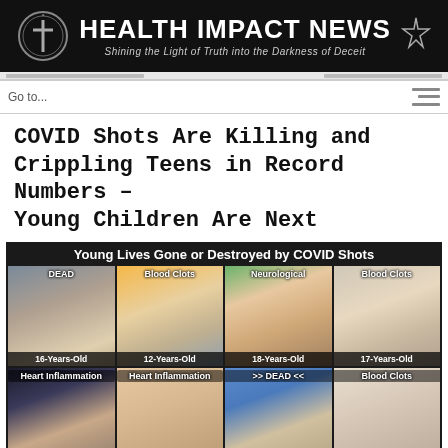[Figure (logo): Health Impact News banner logo with cross symbol, site title and tagline 'Shining the Light of Truth into the Darkness of Deceit' on black background]
Go to...
COVID Shots Are Killing and Crippling Teens in Record Numbers – Young Children Are Next
[Figure (infographic): Grid of 8 photos of young people labeled 'Young Lives Gone or Destroyed by COVID Shots'. Row 1: DEAD 16-Years-Old, Blood Clots 12-Years-Old, Neurological 18-Years-Old, Blood Clots 17-Years-Old. Row 2: Heart Inflammation, Heart Inflammation, DEAD, Blood Clots.]